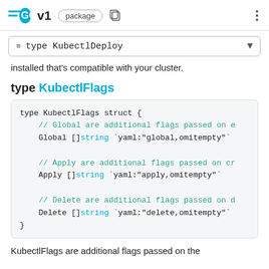GO v1 package
type KubectlDeploy
installed that's compatible with your cluster.
type KubectlFlags
[Figure (screenshot): Code block showing type KubectlFlags struct definition with Global, Apply, and Delete []string fields with yaml tags and comments]
KubectlFlags are additional flags passed on the